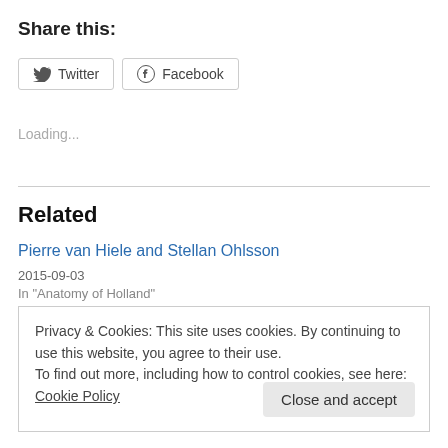Share this:
[Figure (other): Twitter and Facebook share buttons]
Loading...
Related
Pierre van Hiele and Stellan Ohlsson
2015-09-03
In “Anatomy of Holland”
Privacy & Cookies: This site uses cookies. By continuing to use this website, you agree to their use.
To find out more, including how to control cookies, see here: Cookie Policy
Close and accept
2014-07-06